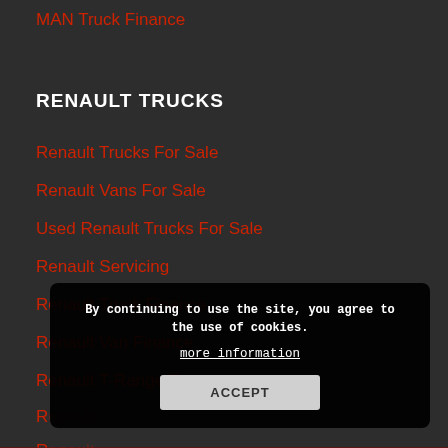MAN Truck Finance
RENAULT TRUCKS
Renault Trucks For Sale
Renault Vans For Sale
Used Renault Trucks For Sale
Renault Servicing
Renault Truck Finance
Renault Van Finance
Renault T-Range Trucks
By continuing to use the site, you agree to the use of cookies.
more information
ACCEPT